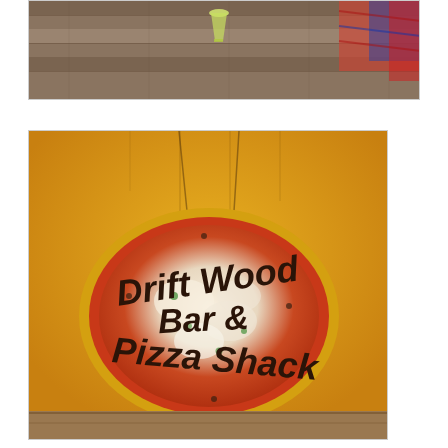[Figure (photo): Top portion of a photo showing a wooden deck/pier with what appears to be a drink glass and colorful rope or netting in the upper right corner.]
[Figure (photo): Photo of a yellow painted wall with a hand-painted oval sign reading 'Drift Wood Bar & Pizza Shack'. The sign is designed to look like a pizza with a yellow border and painted text in dark brown/black.]